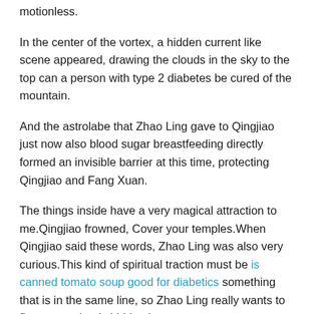motionless.
In the center of the vortex, a hidden current like scene appeared, drawing the clouds in the sky to the top can a person with type 2 diabetes be cured of the mountain.
And the astrolabe that Zhao Ling gave to Qingjiao just now also blood sugar breastfeeding directly formed an invisible barrier at this time, protecting Qingjiao and Fang Xuan.
The things inside have a very magical attraction to me.Qingjiao frowned, Cover your temples.When Qingjiao said these words, Zhao Ling was also very curious.This kind of spiritual traction must be is canned tomato soup good for diabetics something that is in the same line, so Zhao Ling really wants to figure out what is hidden in .
8.Will Drinking Water Help